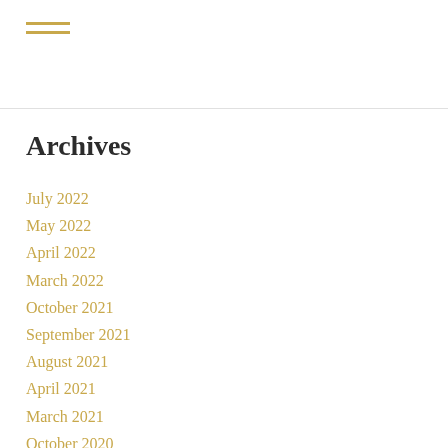☰ menu icon
Archives
July 2022
May 2022
April 2022
March 2022
October 2021
September 2021
August 2021
April 2021
March 2021
October 2020
September 2020
August 2020
July 2020
June 2020
April 2020